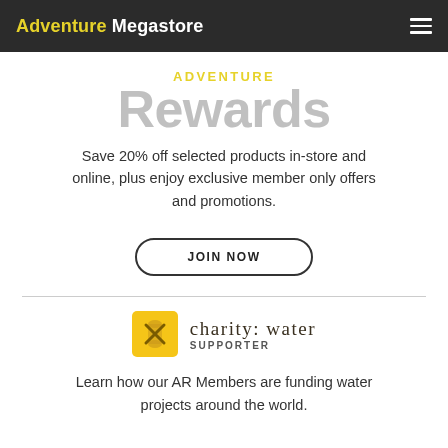Adventure Megastore
ADVENTURE Rewards
Save 20% off selected products in-store and online, plus enjoy exclusive member only offers and promotions.
JOIN NOW
[Figure (logo): charity: water logo — yellow square icon with stylized water vessel symbol, text 'charity: water' and 'SUPPORTER' below]
Learn how our AR Members are funding water projects around the world.